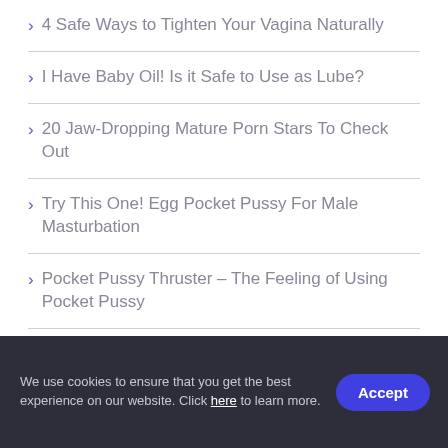4 Safe Ways to Tighten Your Vagina Naturally
I Have Baby Oil! Is it Safe to Use as Lube?
20 Jaw-Dropping Mature Porn Stars To Check Out
Try This One! Egg Pocket Pussy For Male Masturbation
Pocket Pussy Thruster – The Feeling of Using Pocket Pussy
(18+) Add These Kik Sexting Accounts
We use cookies to ensure that you get the best experience on our website. Click here to learn more.